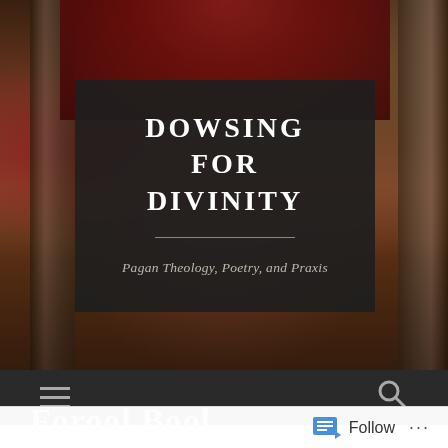[Figure (screenshot): Website header screenshot for 'Dowsing for Divinity' blog. Shows a classical painting background (figures in robes with red drapery and columns) with a dark semi-transparent overlay containing the site title and tagline. Below is a dark navigation bar with hamburger menu and search icon. The lower portion shows white content area with partial large grey text and a WordPress follow bar at the bottom.]
DOWSING FOR DIVINITY
Pagan Theology, Poetry, and Praxis